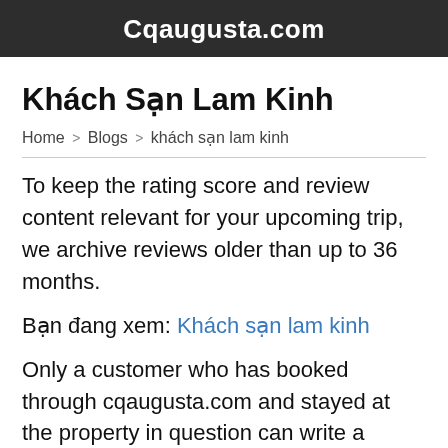Cqaugusta.com
Khách Sạn Lam Kinh
Home > Blogs > khách sạn lam kinh
To keep the rating score and review content relevant for your upcoming trip, we archive reviews older than up to 36 months.
Bạn đang xem: Khách sạn lam kinh
Only a customer who has booked through cqaugusta.com and stayed at the property in question can write a review. This lets us know that our reviews come